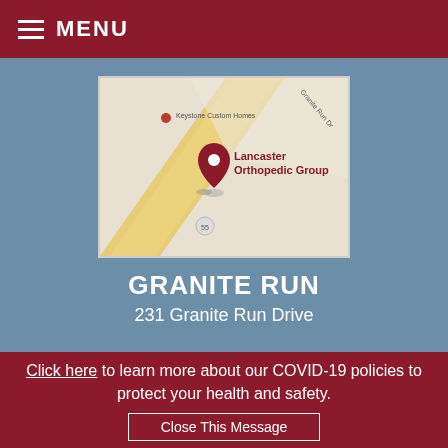MENU
[Figure (map): Google Maps screenshot showing Lancaster Orthopedic Group location at Granite Run Drive, with a dark red location pin marker. Nearby label: Keystone Custom Homes. Road label: Granite Run Dr.]
GRANITE RUN
231 Granite Run Drive
Click here to learn more about our COVID-19 policies to protect your health and safety.
Close This Message